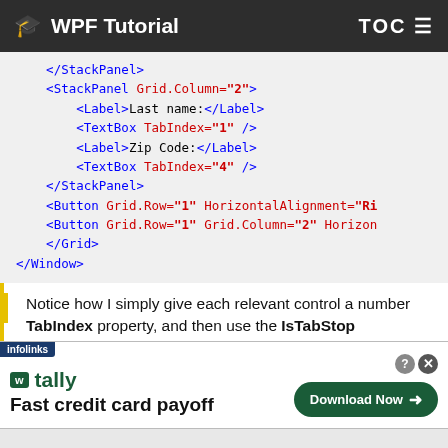WPF Tutorial   TOC
</StackPanel>
<StackPanel Grid.Column="2">
    <Label>Last name:</Label>
    <TextBox TabIndex="1" />
    <Label>Zip Code:</Label>
    <TextBox TabIndex="4" />
</StackPanel>
<Button Grid.Row="1" HorizontalAlignment="Ri
<Button Grid.Row="1" Grid.Column="2" Horizon
    </Grid>
</Window>
Notice how I simply give each relevant control a number TabIndex property, and then use the IsTabStop
[Figure (screenshot): Tally advertisement banner: Fast credit card payoff with Download Now button]